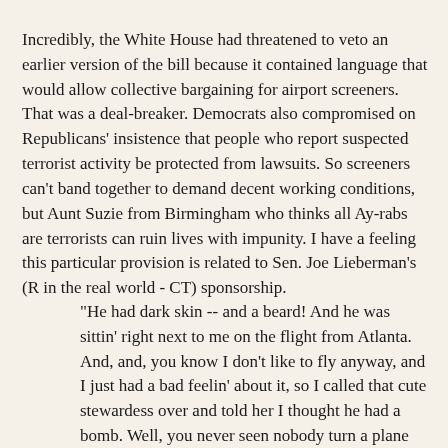Incredibly, the White House had threatened to veto an earlier version of the bill because it contained language that would allow collective bargaining for airport screeners. That was a deal-breaker. Democrats also compromised on Republicans' insistence that people who report suspected terrorist activity be protected from lawsuits. So screeners can't band together to demand decent working conditions, but Aunt Suzie from Birmingham who thinks all Ay-rabs are terrorists can ruin lives with impunity. I have a feeling this particular provision is related to Sen. Joe Lieberman's (R in the real world - CT) sponsorship.
"He had dark skin -- and a beard! And he was sittin' right next to me on the flight from Atlanta. And, and, you know I don't like to fly anyway, and I just had a bad feelin' about it, so I called that cute stewardess over and told her I thought he had a bomb. Well, you never seen nobody turn a plane around so fast. We was back on the ground in nothin' flat, and the poh-leece